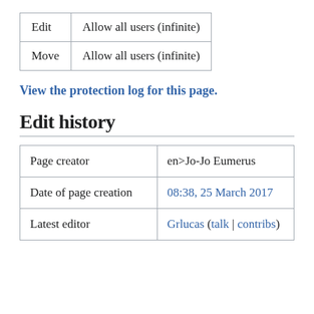| Edit | Allow all users (infinite) |
| Move | Allow all users (infinite) |
View the protection log for this page.
Edit history
| Page creator | en>Jo-Jo Eumerus |
| Date of page creation | 08:38, 25 March 2017 |
| Latest editor | Grlucas (talk | contribs) |